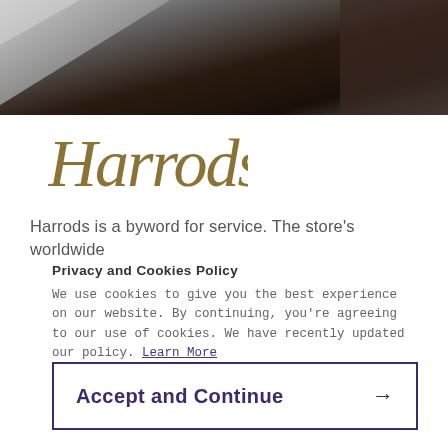[Figure (photo): Dark hero image with abstract geometric shapes, dark brown and grey tones, appears to be a luxury product or store background]
[Figure (logo): Harrods logo in gold/olive italic script font]
Harrods is a byword for service. The store's worldwide
Privacy and Cookies Policy
We use cookies to give you the best experience on our website. By continuing, you're agreeing to our use of cookies. We have recently updated our policy. Learn More
Accept and Continue →